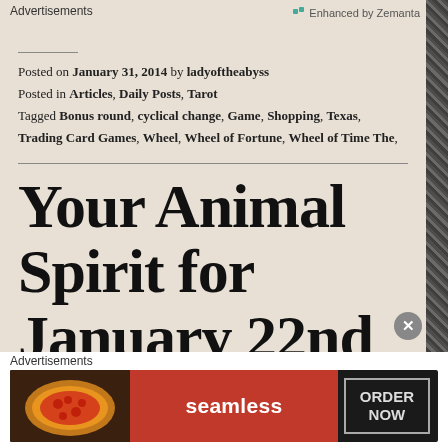[Figure (logo): Enhanced by Zemanta badge in top right corner]
Posted on January 31, 2014 by ladyoftheabyss
Posted in Articles, Daily Posts, Tarot
Tagged Bonus round, cyclical change, Game, Shopping, Texas, Trading Card Games, Wheel, Wheel of Fortune, Wheel of Time The,
Your Animal Spirit for January 22nd is The Deer
Your Animal Spirit for
Advertisements
[Figure (screenshot): Seamless food delivery advertisement banner showing pizza image on left, Seamless logo in red center, and ORDER NOW button on dark background]